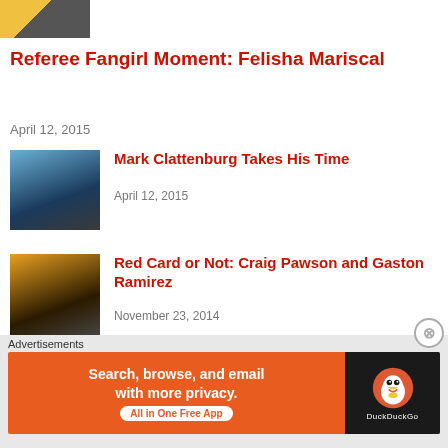[Figure (photo): Small thumbnail image of a referee in yellow shirt, partially visible at top]
Referee Fangirl Moment: Felisha Mariscal
April 12, 2015
[Figure (photo): Thumbnail of a Manchester City player in light blue kit making a gesture]
Mark Clattenburg Takes His Time
April 12, 2015
[Figure (photo): Thumbnail of a Hull City player in black and amber striped kit]
Red Card or Not: Craig Pawson and Gaston Ramirez
November 23, 2014
[Figure (photo): Thumbnail of an Aston Villa player in claret and blue kit]
Sorry, but the Christian Benteke Red Card Was Correct
November 2, 2014
Advertisements
[Figure (screenshot): DuckDuckGo advertisement banner: Search, browse, and email with more privacy. All in One Free App]